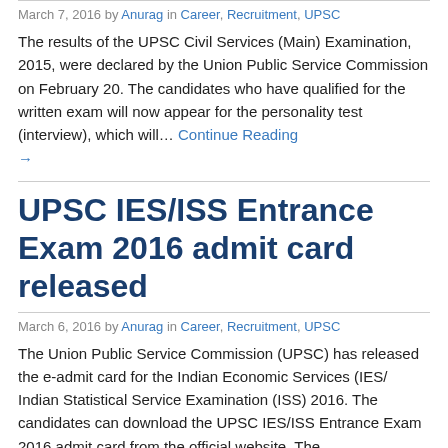March 7, 2016 by Anurag in Career, Recruitment, UPSC
The results of the UPSC Civil Services (Main) Examination, 2015, were declared by the Union Public Service Commission on February 20. The candidates who have qualified for the written exam will now appear for the personality test (interview), which will… Continue Reading →
UPSC IES/ISS Entrance Exam 2016 admit card released
March 6, 2016 by Anurag in Career, Recruitment, UPSC
The Union Public Service Commission (UPSC) has released the e-admit card for the Indian Economic Services (IES/ Indian Statistical Service Examination (ISS) 2016. The candidates can download the UPSC IES/ISS Entrance Exam 2016 admit card from the official website. The… Continue Reading →